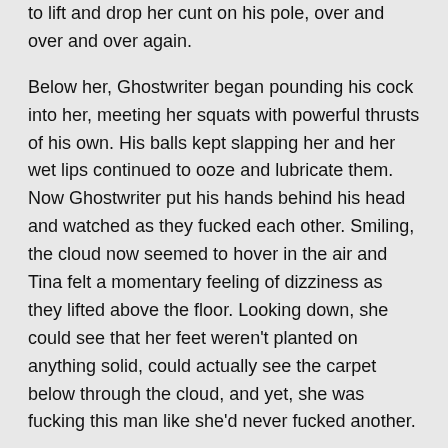to lift and drop her cunt on his pole, over and over and over again.
Below her, Ghostwriter began pounding his cock into her, meeting her squats with powerful thrusts of his own. His balls kept slapping her and her wet lips continued to ooze and lubricate them. Now Ghostwriter put his hands behind his head and watched as they fucked each other. Smiling, the cloud now seemed to hover in the air and Tina felt a momentary feeling of dizziness as they lifted above the floor. Looking down, she could see that her feet weren't planted on anything solid, could actually see the carpet below through the cloud, and yet, she was fucking this man like she'd never fucked another.
As they continued to fuck and float around her office, Tina could feel an orgasm approaching. The pounding, slapping motion, combined with a strong aroma of sex,